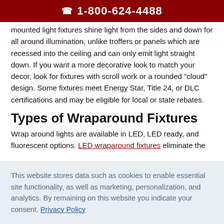1-800-624-4488
mounted light fixtures shine light from the sides and down for all around illumination, unlike troffers or panels which are recessed into the ceiling and can only emit light straight down. If you want a more decorative look to match your decor, look for fixtures with scroll work or a rounded "cloud" design. Some fixtures meet Energy Star, Title 24, or DLC certifications and may be eligible for local or state rebates.
Types of Wraparound Fixtures
Wrap around lights are available in LED, LED ready, and fluorescent options. LED wraparound fixtures eliminate the
This website stores data such as cookies to enable essential site functionality, as well as marketing, personalization, and analytics. By remaining on this website you indicate your consent. Privacy Policy